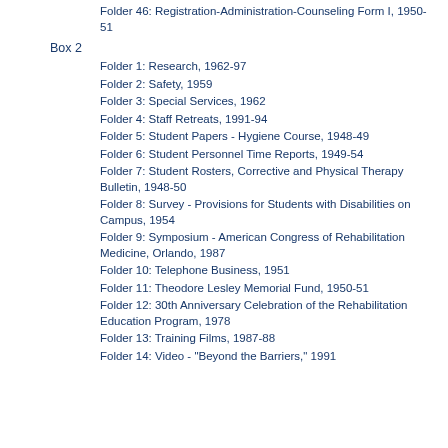Folder 46: Registration-Administration-Counseling Form I, 1950-51
Box 2
Folder 1: Research, 1962-97
Folder 2: Safety, 1959
Folder 3: Special Services, 1962
Folder 4: Staff Retreats, 1991-94
Folder 5: Student Papers - Hygiene Course, 1948-49
Folder 6: Student Personnel Time Reports, 1949-54
Folder 7: Student Rosters, Corrective and Physical Therapy Bulletin, 1948-50
Folder 8: Survey - Provisions for Students with Disabilities on Campus, 1954
Folder 9: Symposium - American Congress of Rehabilitation Medicine, Orlando, 1987
Folder 10: Telephone Business, 1951
Folder 11: Theodore Lesley Memorial Fund, 1950-51
Folder 12: 30th Anniversary Celebration of the Rehabilitation Education Program, 1978
Folder 13: Training Films, 1987-88
Folder 14: Video - "Beyond the Barriers," 1991